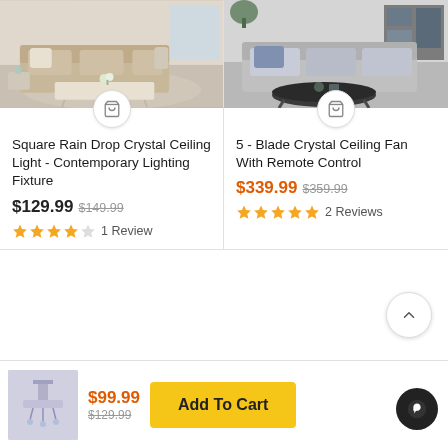[Figure (photo): Living room with beige sofa and white coffee table on patterned rug]
[Figure (photo): Modern living room with grey sofa and dark round coffee table]
Square Rain Drop Crystal Ceiling Light - Contemporary Lighting Fixture
$129.99 $149.99
1 Review
5 - Blade Crystal Ceiling Fan With Remote Control
$339.99 $359.99
2 Reviews
[Figure (photo): Small thumbnail of crystal ceiling light fixture]
$99.99 $129.99
Add To Cart